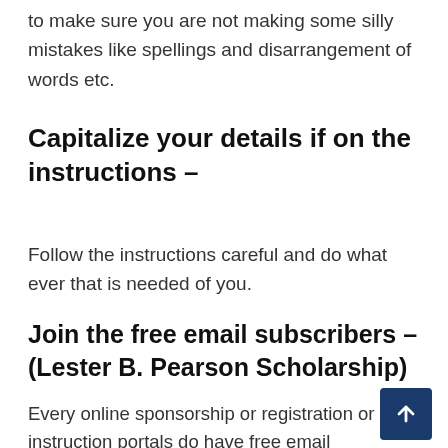to make sure you are not making some silly mistakes like spellings and disarrangement of words etc.
Capitalize your details if on the instructions –
Follow the instructions careful and do what ever that is needed of you.
Join the free email subscribers – (Lester B. Pearson Scholarship)
Every online sponsorship or registration or instruction portals do have free email subscribers and you should do well by joining them for notifications on latest updates.